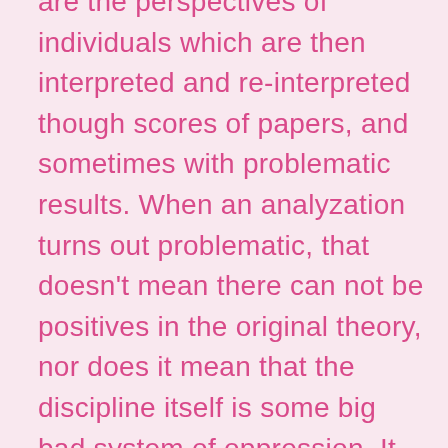are the perspectives of individuals which are then interpreted and re-interpreted though scores of papers, and sometimes with problematic results. When an analyzation turns out problematic, that doesn't mean there can not be positives in the original theory, nor does it mean that the discipline itself is some big bad system of oppression. It just means that academia, just like any other system, has the potential to be used as a tool of oppression and we must not make excuses for it because it occurs in the supposed sacredness of a book versus, say, a bumper sticker or TV